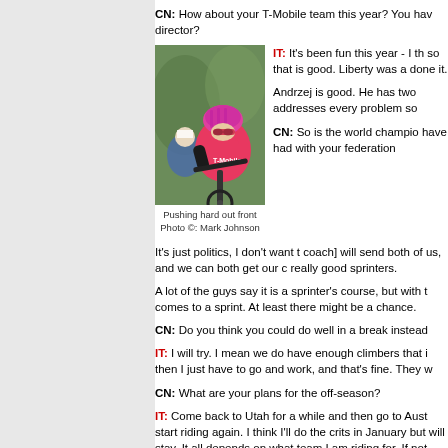CN: How about your T-Mobile team this year? You have a new director?
[Figure (photo): Female cyclist in pink T-Mobile jersey and helmet riding hard at the front of a race. Another cyclist visible behind her.]
Pushing hard out front
Photo ©: Mark Johnson
IT: It's been fun this year - I th so that is good. Liberty was a done it.
Andrzej is good. He has two addresses every problem so
CN: So is the world champion have had with your federation
It's just politics, I don't want to coach] will send both of us, and we can both get our c really good sprinters.
A lot of the guys say it is a sprinter's course, but with t comes to a sprint. At least there might be a chance.
CN: Do you think you could do well in a break instead
IT: I will try. I mean we do have enough climbers that i then I just have to go and work, and that's fine. They w
CN: What are your plans for the off-season?
IT: Come back to Utah for a while and then go to Aust start riding again. I think I'll do the crits in January but will stay. It all depends on what team I am riding for. If not, then I'll have to see where I have to go.
CN: Along that line, what is your future in professional